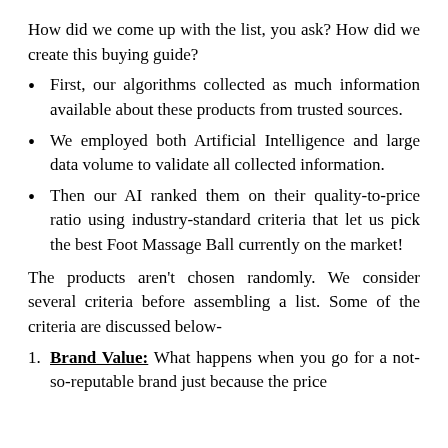How did we come up with the list, you ask? How did we create this buying guide?
First, our algorithms collected as much information available about these products from trusted sources.
We employed both Artificial Intelligence and large data volume to validate all collected information.
Then our AI ranked them on their quality-to-price ratio using industry-standard criteria that let us pick the best Foot Massage Ball currently on the market!
The products aren't chosen randomly. We consider several criteria before assembling a list. Some of the criteria are discussed below-
Brand Value: What happens when you go for a not-so-reputable brand just because the price